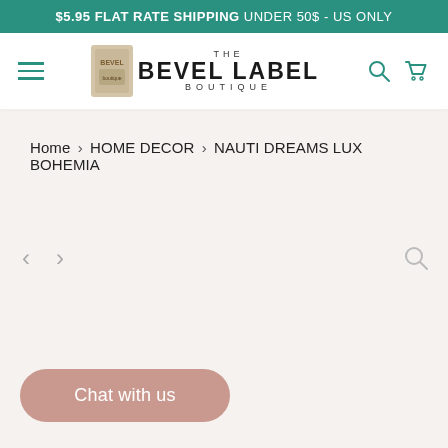$5.95 FLAT RATE SHIPPING UNDER 50$ - US ONLY
[Figure (logo): The Bevel Label Boutique logo with navigation hamburger menu, search icon, and cart icon]
Home › HOME DECOR › NAUTI DREAMS LUX BOHEMIA
[Figure (other): Product image viewer area with left/right arrows and zoom icon]
Chat with us